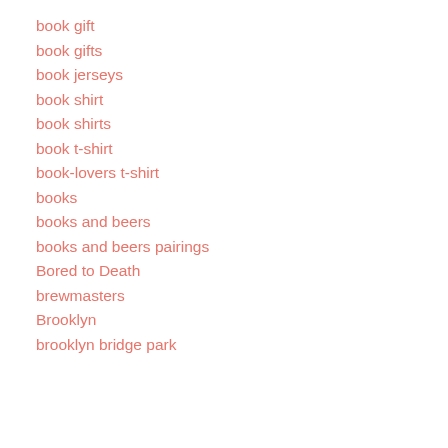book gift
book gifts
book jerseys
book shirt
book shirts
book t-shirt
book-lovers t-shirt
books
books and beers
books and beers pairings
Bored to Death
brewmasters
Brooklyn
brooklyn bridge park